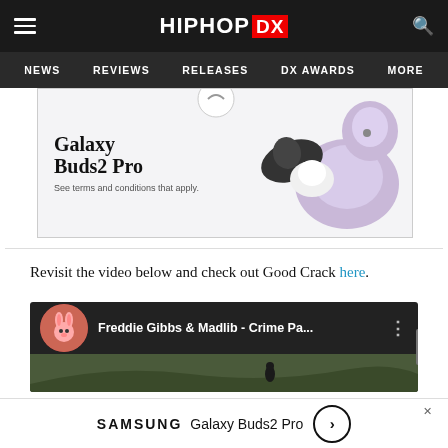HipHopDX — NEWS | REVIEWS | RELEASES | DX AWARDS | MORE
[Figure (photo): Samsung Galaxy Buds2 Pro advertisement showing earbuds in black and lavender color with text 'Galaxy Buds2 Pro — See terms and conditions that apply.']
Revisit the video below and check out Good Crack here.
[Figure (screenshot): YouTube video thumbnail for 'Freddie Gibbs & Madlib - Crime Pa...' with avatar icon and landscape scene in background]
[Figure (photo): Bottom advertisement banner: SAMSUNG Galaxy Buds2 Pro with circle arrow button and close X]